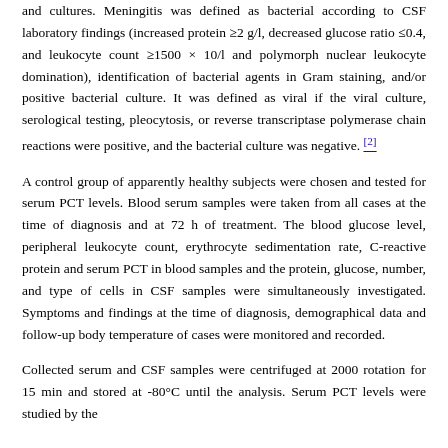and cultures. Meningitis was defined as bacterial according to CSF laboratory findings (increased protein ≥2 g/l, decreased glucose ratio ≤0.4, and leukocyte count ≥1500 × 10/l and polymorph nuclear leukocyte domination), identification of bacterial agents in Gram staining, and/or positive bacterial culture. It was defined as viral if the viral culture, serological testing, pleocytosis, or reverse transcriptase polymerase chain reactions were positive, and the bacterial culture was negative. [2]
A control group of apparently healthy subjects were chosen and tested for serum PCT levels. Blood serum samples were taken from all cases at the time of diagnosis and at 72 h of treatment. The blood glucose level, peripheral leukocyte count, erythrocyte sedimentation rate, C-reactive protein and serum PCT in blood samples and the protein, glucose, number, and type of cells in CSF samples were simultaneously investigated. Symptoms and findings at the time of diagnosis, demographical data and follow-up body temperature of cases were monitored and recorded.
Collected serum and CSF samples were centrifuged at 2000 rotation for 15 min and stored at -80°C until the analysis. Serum PCT levels were studied by the